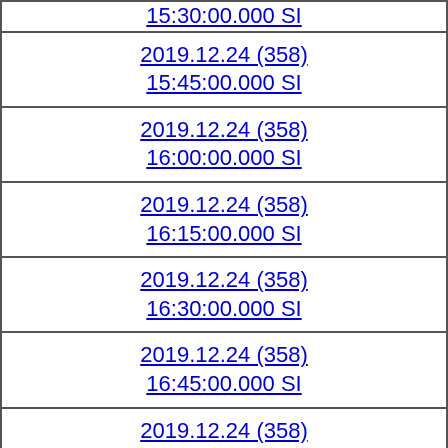| 15:30:00.000 SI |
| 2019.12.24 (358)
15:45:00.000 SI |
| 2019.12.24 (358)
16:00:00.000 SI |
| 2019.12.24 (358)
16:15:00.000 SI |
| 2019.12.24 (358)
16:30:00.000 SI |
| 2019.12.24 (358)
16:45:00.000 SI |
| 2019.12.24 (358)
17:00:00.000 SI |
| 2019.12.24 (358)
17:15:00.000 SI |
| 2019.12.24 (358)
17:30:00.000 SI |
| 2019.12.24 (358) |